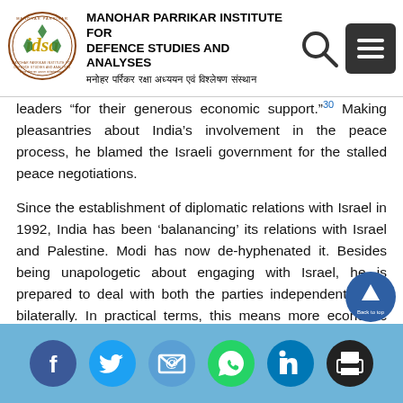MANOHAR PARRIKAR INSTITUTE FOR DEFENCE STUDIES AND ANALYSES | मनोहर पर्रिकर रक्षा अध्ययन एवं विश्लेषण संस्थान
leaders "for their generous economic support." Making pleasantries about India's involvement in the peace process, he blamed the Israeli government for the stalled peace negotiations.

Since the establishment of diplomatic relations with Israel in 1992, India has been 'balanancing' its relations with Israel and Palestine. Modi has now de-hyphenated it. Besides being unapologetic about engaging with Israel, he is prepared to deal with both the parties independently and bilaterally. In practical terms, this means more economic engagements than political platitudes. Above all, by not referring to East Jerusalem as the capital of the future Palestinian State, he h...
Social media share icons: Facebook, Twitter, Email, WhatsApp, LinkedIn, Print